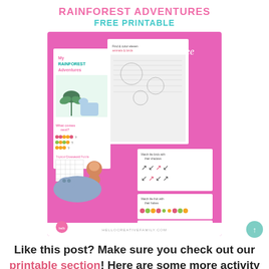RAINFOREST ADVENTURES FREE PRINTABLE
[Figure (illustration): Preview image of Rainforest Adventures Free Printable pack showing multiple activity sheets including coloring pages, pattern sequences, matching activities, a crossword puzzle, and a maze, all displayed on a bright pink background with 'free' text overlay. Website URL hellocreativefamily.com shown at bottom.]
Like this post? Make sure you check out our printable section! Here are some more activity sheets you might like!